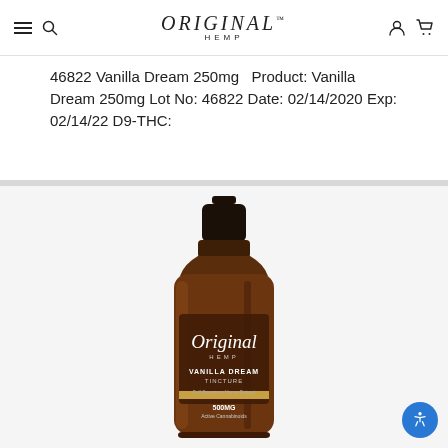ORIGINAL HEMP
46822 Vanilla Dream 250mg   Product: Vanilla Dream 250mg Lot No: 46822 Date: 02/14/2020 Exp: 02/14/22 D9-THC:
[Figure (photo): Amber glass dropper bottle with black cap labeled 'Original Hemp Vanilla Dream Tincture 500mg Active Cannabinoids']